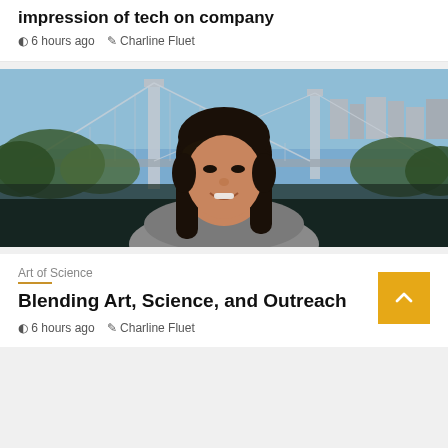impression of tech on company
6 hours ago   Charline Fluet
[Figure (photo): A smiling young Asian woman with long black hair standing outdoors in front of a large suspension bridge (George Washington Bridge) with trees and buildings in the background]
Art of Science
Blending Art, Science, and Outreach
6 hours ago   Charline Fluet